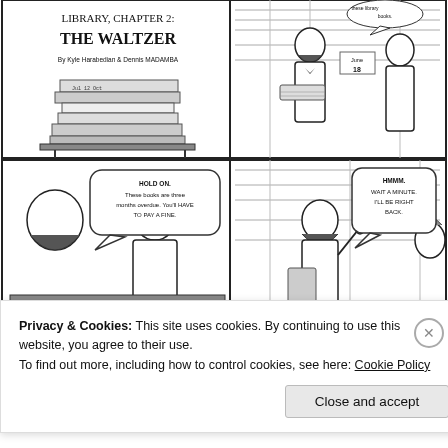[Figure (illustration): Comic page titled 'LIBRARY, CHAPTER 2: THE WALTZER' by Kyle Harabedian & Dennis MADAMBA. Top row: left panel shows stacked books with title and author text; right panel shows a bearded librarian handing books to a woman in a library, with speech bubble 'these library books.' and a date card 'June 18'. Bottom row: left panel shows a woman telling the bearded man 'HOLD ON. These books are three months overdue. You'll HAVE TO PAY A FINE.'; right panel shows the bearded librarian with finger raised saying 'HMMM. WAIT A MINUTE. I'LL BE RIGHT BACK.' Black and white ink comic art.]
Privacy & Cookies: This site uses cookies. By continuing to use this website, you agree to their use.
To find out more, including how to control cookies, see here: Cookie Policy